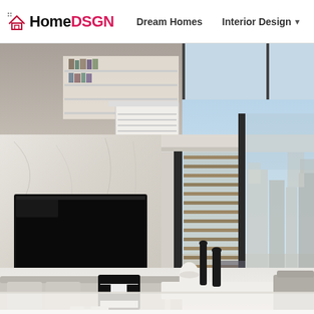HomeDSGN | Dream Homes | Interior Design | Hou
[Figure (photo): Modern luxury living room interior with double-height ceiling, wall-mounted TV on marble wall, large glass sliding doors opening to a terrace with horizontal wood slat privacy screens, and a city skyline view. Upper level visible with floating bookshelves. Contemporary furniture including grey sofa with black-and-white patterned cushions. White and light grey color palette throughout.]